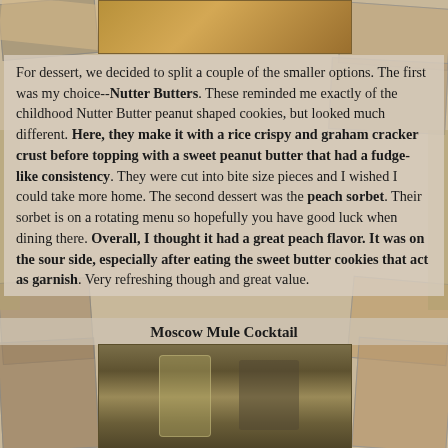[Figure (photo): Top image showing a wooden cutting board or food item on a wooden surface]
For dessert, we decided to split a couple of the smaller options.  The first was my choice--Nutter Butters.  These reminded me exactly of the childhood Nutter Butter peanut shaped cookies, but looked much different.  Here, they make it with a rice crispy and graham cracker crust before topping with a sweet peanut butter that had a fudge-like consistency.  They were cut into bite size pieces and I wished I could take more home.  The second dessert was the peach sorbet.  Their sorbet is on a rotating menu so hopefully you have good luck when dining there.  Overall, I thought it had a great peach flavor.  It was on the sour side, especially after eating the sweet butter cookies that act as garnish.  Very refreshing though and great value.
Moscow Mule Cocktail
[Figure (photo): Photo of a Moscow Mule cocktail drink with a glass and garnish on a wooden surface]